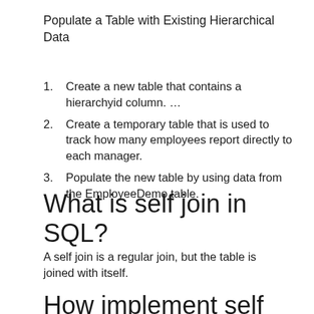Populate a Table with Existing Hierarchical Data
Create a new table that contains a hierarchyid column. …
Create a temporary table that is used to track how many employees report directly to each manager.
Populate the new table by using data from the EmployeeDemo table.
What is self join in SQL?
A self join is a regular join, but the table is joined with itself.
How implement self join in